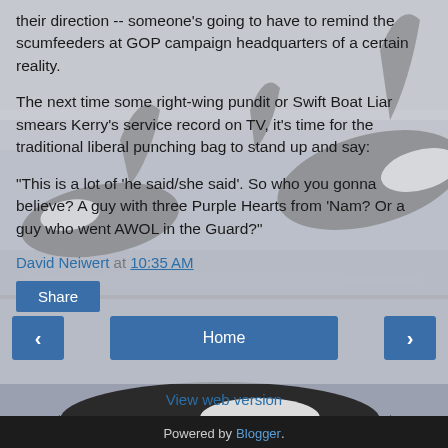their direction -- someone's going to have to remind the scumfeeders at GOP campaign headquarters of a certain reality.
The next time some right-wing pundit or Swift Boat Liar smears Kerry's service record on TV, it's time for the traditional liberal punching bag to stand up and say:
"This is a lot of 'he said/she said'. So who you gonna believe? A guy with three Purple Hearts from 'Nam? Or a guy who went AWOL in the Guard?"
David Neiwert at 10:35 AM
Share
Home
View web version
Powered by Blogger.